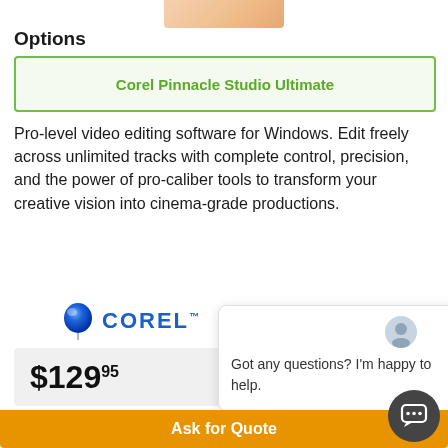[Figure (photo): Partial product/person image at top center]
Options
Corel Pinnacle Studio Ultimate
Pro-level video editing software for Windows. Edit freely across unlimited tracks with complete control, precision, and the power of pro-caliber tools to transform your creative vision into cinema-grade productions.
[Figure (logo): Corel logo with blue balloon and COREL text]
$129.95
Got any questions? I'm happy to help.
1
Add to Cart
Ask for Quote